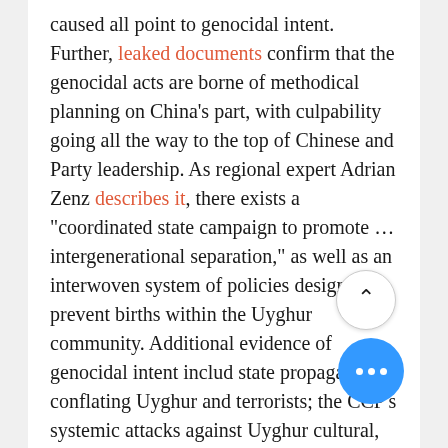caused all point to genocidal intent. Further, leaked documents confirm that the genocidal acts are borne of methodical planning on China's part, with culpability going all the way to the top of Chinese and Party leadership. As regional expert Adrian Zenz describes it, there exists a "coordinated state campaign to promote … intergenerational separation," as well as an interwoven system of policies designed to prevent births within the Uyghur community. Additional evidence of genocidal intent includ state propaganda conflating Uyghur and terrorists; the CCP's systemic attacks against Uyghur cultural, religious, and historical sites, including sacred burial places; the creation of a